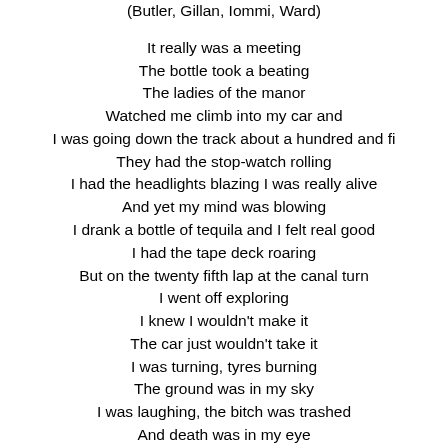(Butler, Gillan, Iommi, Ward)

It really was a meeting
The bottle took a beating
The ladies of the manor
Watched me climb into my car and
I was going down the track about a hundred and fi[fty]
They had the stop-watch rolling
I had the headlights blazing I was really alive
And yet my mind was blowing
I drank a bottle of tequila and I felt real good
I had the tape deck roaring
But on the twenty fifth lap at the canal turn
I went off exploring
I knew I wouldn't make it
The car just wouldn't take it
I was turning, tyres burning
The ground was in my sky
I was laughing, the bitch was trashed
And death was in my eye

I had started pretty good and I was feeling my wa[y]
I had the wheels in motion
There was Peter and the Greenfly laughing like dra[ins]
Inebriation
The crowd was roaring I was at Brands Hatch
In my imagination
But at the canal turn I hit an oily patch
Inebriation

Ooh Mr Miracle you saved me from some rain[...]